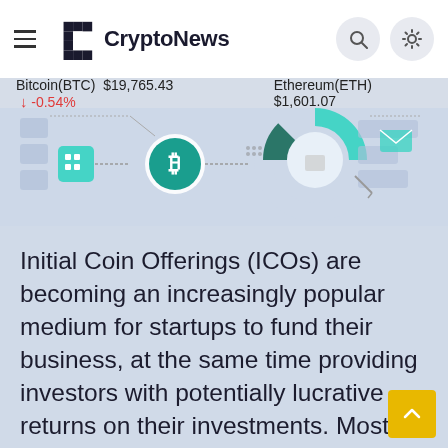CryptoNews
Bitcoin(BTC) $19,765.43 ↓ -0.54%    Ethereum(ETH) $1,601.07
[Figure (illustration): Cryptocurrency technology infographic showing blockchain icons, Bitcoin symbol, circular diagram with teal and dark green segments, connected nodes and envelopes on a light blue background]
Initial Coin Offerings (ICOs) are becoming an increasingly popular medium for startups to fund their business, at the same time providing investors with potentially lucrative returns on their investments. Most ICOs are based on Ethereum because it offers Smart Contracts, a feature